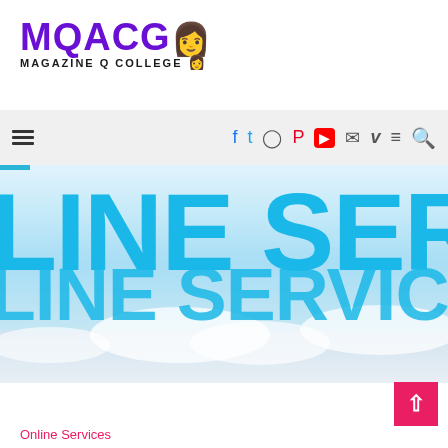[Figure (logo): MQACG Magazine Q College logo with purple bold text and emoji figure]
Navigation bar with hamburger menu and social media icons: Facebook, Twitter, Instagram, Pinterest, YouTube, Mail, Vimeo, Menu, Search
[Figure (photo): Hero banner image showing large cyan/blue bold text reading 'LINE SERVIC' (cropped, partial text of 'ONLINE SERVICES') on a sky background with clouds]
Online Services